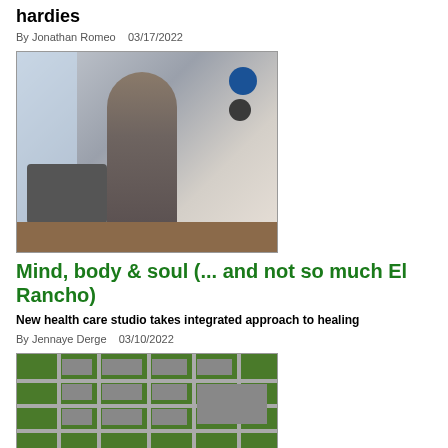hardies
By Jonathan Romeo   03/17/2022
[Figure (photo): Woman standing in a health/fitness studio with exercise equipment, weights, and exercise balls in background]
Mind, body & soul (... and not so much El Rancho)
New health care studio takes integrated approach to healing
By Jennaye Derge   03/10/2022
[Figure (photo): Aerial view of a neighborhood or town area with green spaces, roads, and buildings visible from above]